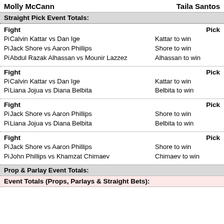Molly McCann   Taila Santos
Straight Pick Event Totals:
| Fight | Pick |
| --- | --- |
| Pi Calvin Kattar vs Dan Ige | Kattar to win |
| Pi Jack Shore vs Aaron Phillips | Shore to win |
| Pi Abdul Razak Alhassan vs Mounir Lazzez | Alhassan to win |
| Fight | Pick |
| --- | --- |
| Pi Calvin Kattar vs Dan Ige | Kattar to win |
| Pi Liana Jojua vs Diana Belbita | Belbita to win |
| Fight | Pick |
| --- | --- |
| Pi Jack Shore vs Aaron Phillips | Shore to win |
| Pi Liana Jojua vs Diana Belbita | Belbita to win |
| Fight | Pick |
| --- | --- |
| Pi Jack Shore vs Aaron Phillips | Shore to win |
| Pi John Phillips vs Khamzat Chimaev | Chimaev to win |
Prop & Parlay Event Totals:
Event Totals (Props, Parlays & Straight Bets):